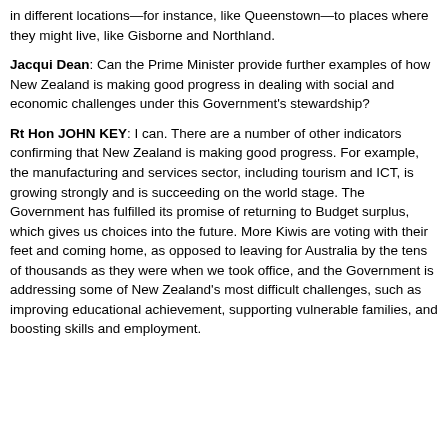in different locations—for instance, like Queenstown—to places where they might live, like Gisborne and Northland.
Jacqui Dean: Can the Prime Minister provide further examples of how New Zealand is making good progress in dealing with social and economic challenges under this Government's stewardship?
Rt Hon JOHN KEY: I can. There are a number of other indicators confirming that New Zealand is making good progress. For example, the manufacturing and services sector, including tourism and ICT, is growing strongly and is succeeding on the world stage. The Government has fulfilled its promise of returning to Budget surplus, which gives us choices into the future. More Kiwis are voting with their feet and coming home, as opposed to leaving for Australia by the tens of thousands as they were when we took office, and the Government is addressing some of New Zealand's most difficult challenges, such as improving educational achievement, supporting vulnerable families, and boosting skills and employment.